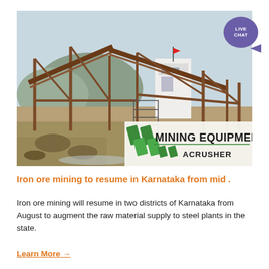[Figure (photo): Industrial mining equipment facility with large conveyor belts and steel frameworks. A white building with a red flag is visible in the background. In the foreground there is rocky debris and muddy ground. Bottom-right overlay shows 'MINING EQUIPMENT // ACRUSHER' logo with green diagonal stripes.]
Iron ore mining to resume in Karnataka from mid .
Iron ore mining will resume in two districts of Karnataka from August to augment the raw material supply to steel plants in the state.
Learn More →